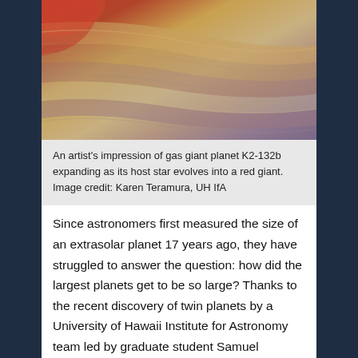[Figure (photo): An artist's impression of gas giant planet K2-132b expanding as its host star evolves into a red giant. The image shows swirling bands of orange, brown, tan, and purple atmospheric textures with a red glow in the upper left corner.]
An artist's impression of gas giant planet K2-132b expanding as its host star evolves into a red giant. Image credit: Karen Teramura, UH IfA
Since astronomers first measured the size of an extrasolar planet 17 years ago, they have struggled to answer the question: how did the largest planets get to be so large? Thanks to the recent discovery of twin planets by a University of Hawaii Institute for Astronomy team led by graduate student Samuel Grunblatt, we are getting closer to an answer.
Gas giant planets are primarily made out of hydrogen and helium, and are at least four times the diameter of Earth. Gas giant planets that orbit scorchingly close to their host stars are known as “hot Jupiters.” These